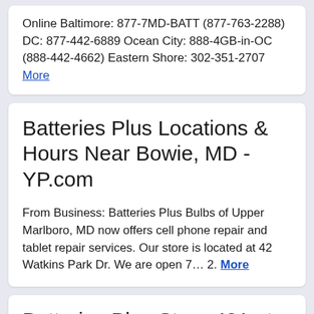Online Baltimore: 877-7MD-BATT (877-763-2288) DC: 877-442-6889 Ocean City: 888-4GB-in-OC (888-442-4662) Eastern Shore: 302-351-2707 More
Batteries Plus Locations & Hours Near Bowie, MD - YP.com
From Business: Batteries Plus Bulbs of Upper Marlboro, MD now offers cell phone repair and tablet repair services. Our store is located at 42 Watkins Park Dr. We are open 7… 2. More
Batteries Plus Store 431 at 42 Watkins Park Dr | Batteries